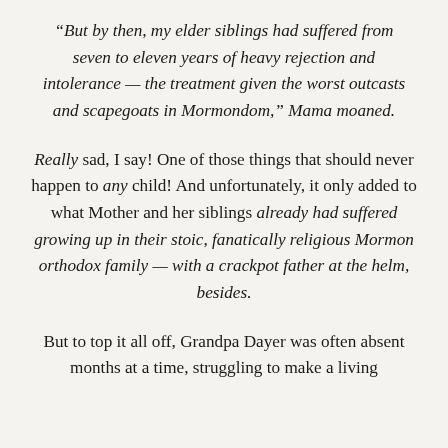“But by then, my elder siblings had suffered from seven to eleven years of heavy rejection and intolerance — the treatment given the worst outcasts and scapegoats in Mormondom,” Mama moaned.
Really sad, I say! One of those things that should never happen to any child! And unfortunately, it only added to what Mother and her siblings already had suffered growing up in their stoic, fanatically religious Mormon orthodox family — with a crackpot father at the helm, besides.
But to top it all off, Grandpa Dayer was often absent months at a time, struggling to make a living